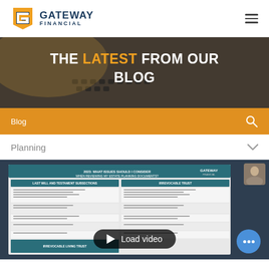[Figure (logo): Gateway Financial logo with orange G icon and dark blue text]
[Figure (photo): Hero banner image showing hands typing on a laptop keyboard with text overlay: THE LATEST FROM OUR BLOG]
Blog
Planning
[Figure (screenshot): Video thumbnail showing a document titled '2023: What Issues Should I Consider When Reviewing My Estate Planning Documents?' with a Load video button overlay and a person thumbnail in the top right corner]